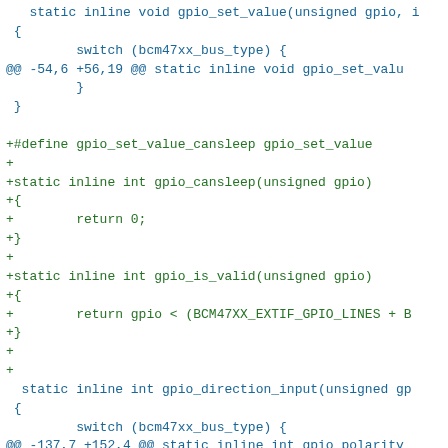diff/patch code snippet showing GPIO related changes
static inline void gpio_set_value(unsigned gpio, i
 {
         switch (bcm47xx_bus_type) {
@@ -54,6 +56,19 @@ static inline void gpio_set_valu
         }
 }

+#define gpio_set_value_cansleep gpio_set_value
+
+static inline int gpio_cansleep(unsigned gpio)
+{
+        return 0;
+}
+
+static inline int gpio_is_valid(unsigned gpio)
+{
+        return gpio < (BCM47XX_EXTIF_GPIO_LINES + B
+}
+
+
  static inline int gpio_direction_input(unsigned gp
 {
         switch (bcm47xx_bus_type) {
@@ -137,7 +152,4 @@ static inline int gpio_polarity
 }


-/* cansleep wrappers */
-#include <asm-generic/gpio.h>
-